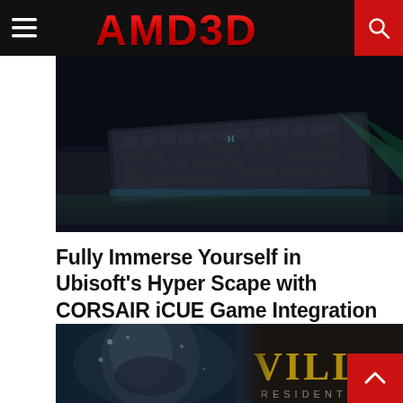AMD3D
[Figure (photo): A dark gaming setup showing an illuminated gaming keyboard on a desk with green accent lighting and a large mousepad, dark ambient background]
Fully Immerse Yourself in Ubisoft's Hyper Scape with CORSAIR iCUE Game Integration
[Figure (photo): Resident Evil Village game promotional image showing a close-up of Ethan Winters' frost-covered face on left side, and the text 'VILLAGE' and 'RESIDENT EVI' on right side in gold/dark letters]